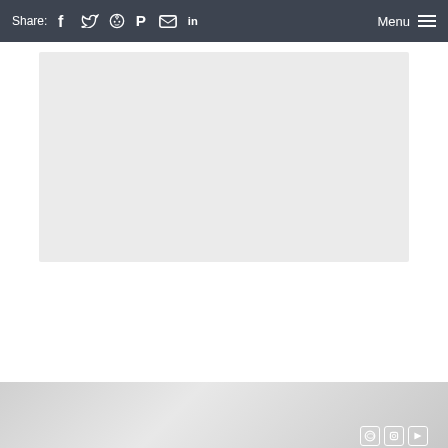Share: [facebook] [twitter] [reddit] [pinterest] [email] [linkedin]    Menu
[Figure (other): Light gray placeholder content box on white background]
Further reading
[Figure (photo): Partially visible article image with blurred background]
[Figure (other): Tiny Tina's Wonderlands advertisement banner: 25% OFF on Steam]